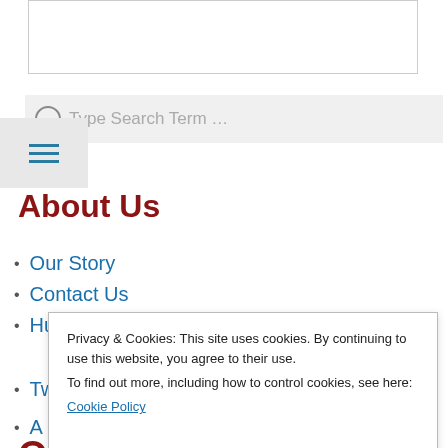[Figure (screenshot): Top image placeholder box with border]
[Figure (screenshot): Search bar with placeholder text 'Type Search Term ...' and hamburger menu icon]
About Us
Our Story
Contact Us
Huffington Post article
Twitter
Privacy & Cookies: This site uses cookies. By continuing to use this website, you agree to their use.
To find out more, including how to control cookies, see here:
Cookie Policy
Close and accept
O
O
providers.